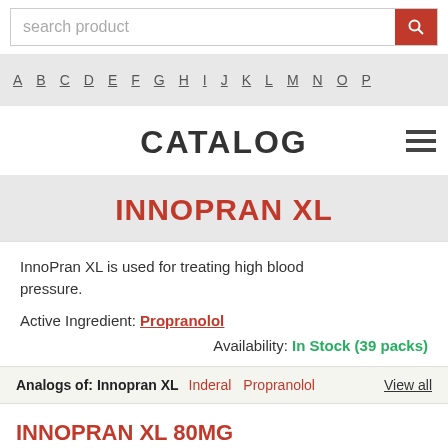search product
A B C D E F G H I J K L M N O P
CATALOG
INNOPRAN XL
InnoPran XL is used for treating high blood pressure.
Active Ingredient: Propranolol
Availability: In Stock (39 packs)
Analogs of: Innopran XL   Inderal   Propranolol   View all
INNOPRAN XL 80MG